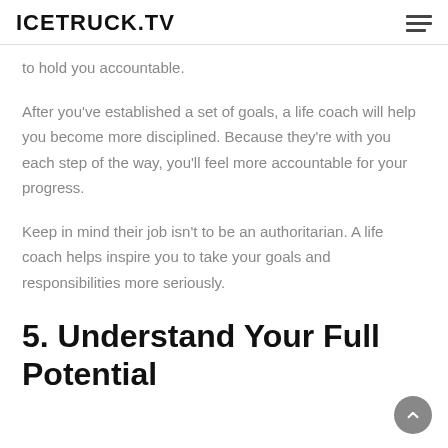ICETRUCK.TV
to hold you accountable.
After you’ve established a set of goals, a life coach will help you become more disciplined. Because they’re with you each step of the way, you’ll feel more accountable for your progress.
Keep in mind their job isn’t to be an authoritarian. A life coach helps inspire you to take your goals and responsibilities more seriously.
5. Understand Your Full Potential